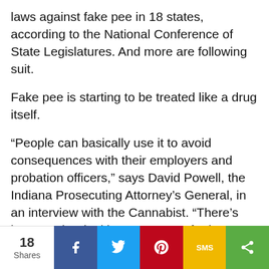laws against fake pee in 18 states, according to the National Conference of State Legislatures. And more are following suit.
Fake pee is starting to be treated like a drug itself.
“People can basically use it to avoid consequences with their employers and probation officers,” says David Powell, the Indiana Prosecuting Attorney’s General, in an interview with the Cannabist. “There’s just no other legitimate purpose for it.”
Their logic goes: fake pee is being used by criminals to do drugs, without suffering the consequences. So, naturally, fake pee must be made illegal too. To stop drug use
18 Shares | Facebook | Twitter | Pinterest | SMS | Share